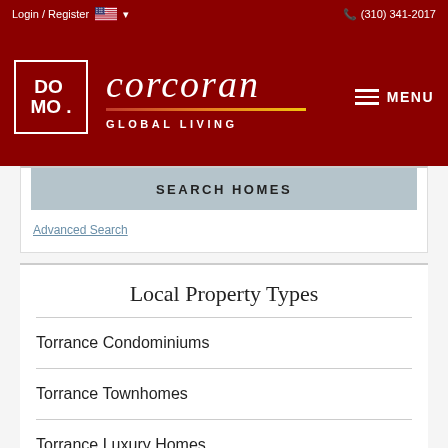Login / Register  🇺🇸 ▾  (310) 341-2017
[Figure (logo): DO MO logo in white box on dark red background alongside Corcoran Global Living italic brand text with gradient underline, and hamburger menu icon with MENU label]
SEARCH HOMES
Advanced Search
Local Property Types
Torrance Condominiums
Torrance Townhomes
Torrance Luxury Homes